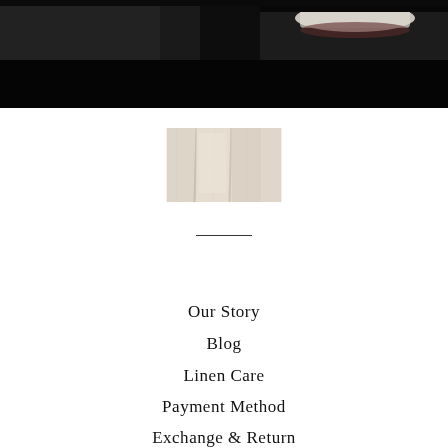[Figure (photo): Top portion of a dark photo showing a person smiling, mostly black background with partial face visible including teeth and dark hair]
[Figure (photo): Small thumbnail image of white/cream linen fabric with folds]
Our Story
Blog
Linen Care
Payment Method
Exchange & Return